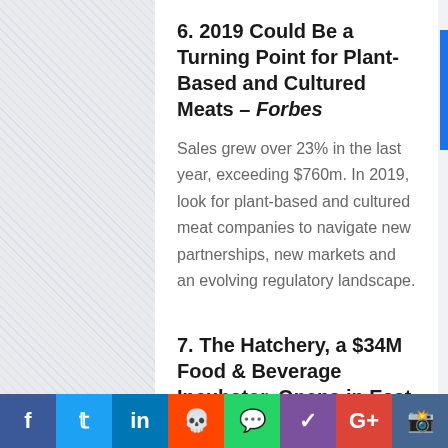6. 2019 Could Be a Turning Point for Plant-Based and Cultured Meats – Forbes
Sales grew over 23% in the last year, exceeding $760m. In 2019, look for plant-based and cultured meat companies to navigate new partnerships, new markets and an evolving regulatory landscape.
7. The Hatchery, a $34M Food & Beverage Incubator, Opens in East Garfield Park – Chicago Sun Times
The 67k sf facility is a partnership between Accion and the Industrial Council of Nearwest Chicago. Celebrity chef Rick Bayless will